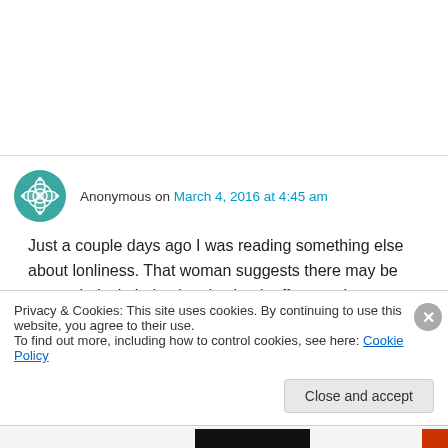Anonymous on March 4, 2016 at 4:45 am
Just a couple days ago I was reading something else about lonliness. That woman suggests there may be some clarity in being lonely; that it offers a crisper perspective on the world and other people. That dos not make it feel any better, but I find it an interesting idea. That there may be
Privacy & Cookies: This site uses cookies. By continuing to use this website, you agree to their use.
To find out more, including how to control cookies, see here: Cookie Policy
Close and accept